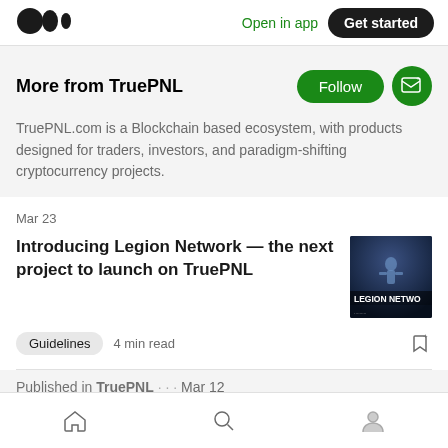Open in app | Get started
More from TruePNL
TruePNL.com is a Blockchain based ecosystem, with products designed for traders, investors, and paradigm-shifting cryptocurrency projects.
Mar 23
Introducing Legion Network — the next project to launch on TruePNL
[Figure (photo): Legion Network promotional image with dark blue sci-fi background and 'LEGION NETWO' text overlay]
Guidelines  4 min read
Published in TruePNL · · · Mar 12
Home | Search | Profile